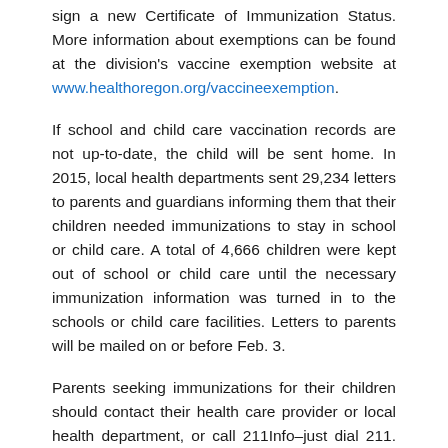sign a new Certificate of Immunization Status. More information about exemptions can be found at the division's vaccine exemption website at www.healthoregon.org/vaccineexemption.
If school and child care vaccination records are not up-to-date, the child will be sent home. In 2015, local health departments sent 29,234 letters to parents and guardians informing them that their children needed immunizations to stay in school or child care. A total of 4,666 children were kept out of school or child care until the necessary immunization information was turned in to the schools or child care facilities. Letters to parents will be mailed on or before Feb. 3.
Parents seeking immunizations for their children should contact their health care provider or local health department, or call 211Info–just dial 211. No